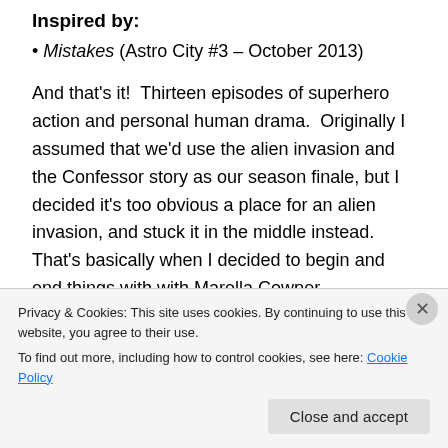Inspired by:
Mistakes (Astro City #3 – October 2013)
And that's it!  Thirteen episodes of superhero action and personal human drama.  Originally I assumed that we'd use the alien invasion and the Confessor story as our season finale, but I decided it's too obvious a place for an alien invasion, and stuck it in the middle instead.  That's basically when I decided to begin and end things with with Marella Cowper.
And hopefully we've left a bunch of material for the supposed second season, notably the revelation of what happened to the Silver Agent, and how he is present at the
Privacy & Cookies: This site uses cookies. By continuing to use this website, you agree to their use.
To find out more, including how to control cookies, see here: Cookie Policy
Close and accept